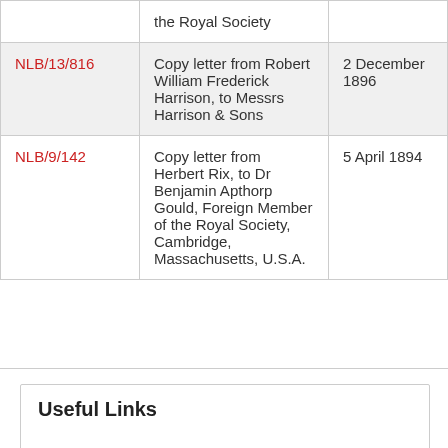| Reference | Description | Date |
| --- | --- | --- |
|  | the Royal Society |  |
| NLB/13/816 | Copy letter from Robert William Frederick Harrison, to Messrs Harrison & Sons | 2 December 1896 |
| NLB/9/142 | Copy letter from Herbert Rix, to Dr Benjamin Apthorp Gould, Foreign Member of the Royal Society, Cambridge, Massachusetts, U.S.A. | 5 April 1894 |
Useful Links